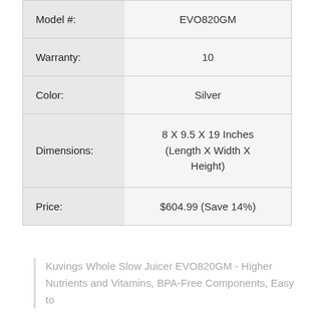| Attribute | Value |
| --- | --- |
| Model #: | EVO820GM |
| Warranty: | 10 |
| Color: | Silver |
| Dimensions: | 8 X 9.5 X 19 Inches (Length X Width X Height) |
| Price: | $604.99 (Save 14%) |
Kuvings Whole Slow Juicer EVO820GM - Higher Nutrients and Vitamins, BPA-Free Components, Easy to